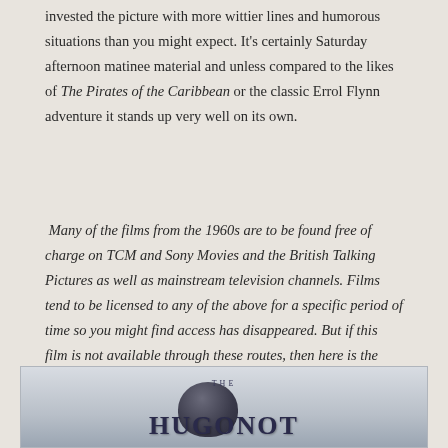invested the picture with more wittier lines and humorous situations than you might expect. It's certainly Saturday afternoon matinee material and unless compared to the likes of The Pirates of the Caribbean or the classic Errol Flynn adventure it stands up very well on its own.
Many of the films from the 1960s are to be found free of charge on TCM and Sony Movies and the British Talking Pictures as well as mainstream television channels. Films tend to be licensed to any of the above for a specific period of time so you might find access has disappeared. But if this film is not available through these routes, then here is the link to the DVD and/or streaming service.
[Figure (photo): Bottom portion of a movie poster or book cover showing 'THE' in small caps above large stylized title letters, with a figure silhouette visible]